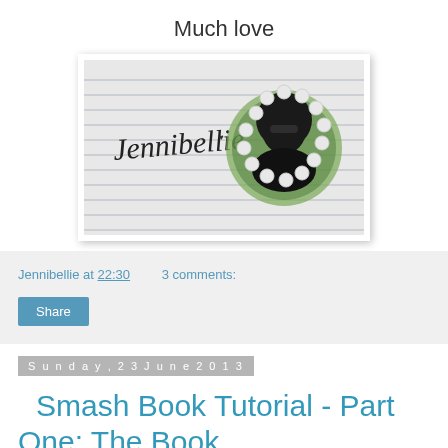Much love
[Figure (photo): A photo showing a handwritten signature 'Jennibellie' on lined paper with a circular portrait photo of a dark-haired woman wearing sunglasses, cut out in a scalloped circle shape, overlaid on the right side.]
Jennibellie at 22:30   3 comments:
Share
Sunday, 23 June 2013
Smash Book Tutorial - Part One: The Book